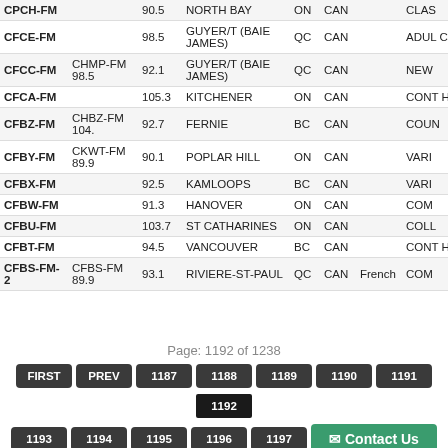| Call Sign | Also Known As | Freq | City | St | Country | Language | Format |
| --- | --- | --- | --- | --- | --- | --- | --- |
| CPCH-FM |  | 90.5 | NORTH BAY | ON | CAN |  | CLAS... |
| CFCE-FM |  | 98.5 | GUYER/T (BAIE JAMES) | QC | CAN |  | ADUL CONT |
| CFCC-FM | CHMP-FM 98.5 | 92.1 | GUYER/T (BAIE JAMES) | QC | CAN |  | NEW... |
| CFCA-FM |  | 105.3 | KITCHENER | ON | CAN |  | CONT HIT R |
| CFBZ-FM | CHBZ-FM 104. | 92.7 | FERNIE | BC | CAN |  | COUN |
| CFBY-FM | CKWT-FM 89.9 | 90.1 | POPLAR HILL | ON | CAN |  | VARI |
| CFBX-FM |  | 92.5 | KAMLOOPS | BC | CAN |  | VARI |
| CFBW-FM |  | 91.3 | HANOVER | ON | CAN |  | COM |
| CFBU-FM |  | 103.7 | ST CATHARINES | ON | CAN |  | COLL |
| CFBT-FM |  | 94.5 | VANCOUVER | BC | CAN |  | CONT HIT R |
| CFBS-FM-2 | CFBS-FM 89.9 | 93.1 | RIVIERE-ST-PAUL | QC | CAN | French | COM |
Page: 1192 of 1238